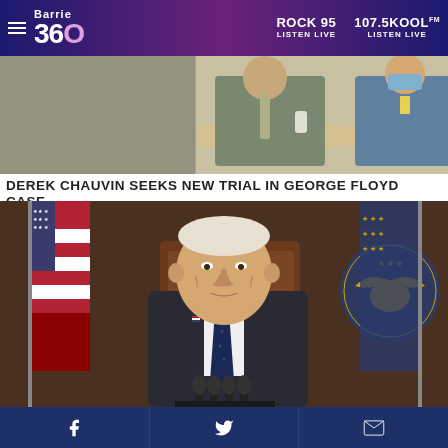Barrie 360 | ROCK 95 LISTEN LIVE | 107.5KOOLFM LISTEN LIVE
[Figure (photo): Photo of Derek Chauvin seated at a table in a courtroom, wearing a suit and tie, with other individuals visible nearby]
DEREK CHAUVIN SEEKS NEW TRIAL IN GEORGE FLOYD CASE
[Figure (photo): Photo of President Joe Biden standing at a podium with microphones, wearing a dark suit and tie, with American flags and a presidential seal visible in the background]
Facebook | Twitter | Email